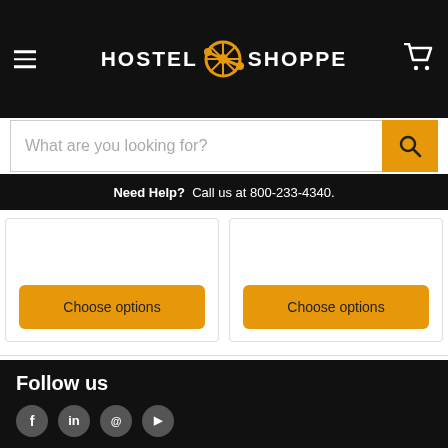HOSTEL SHOPPE
What are you looking for?
Need Help?  Call us at 800-233-4340.
Choose options
Choose options
Follow us